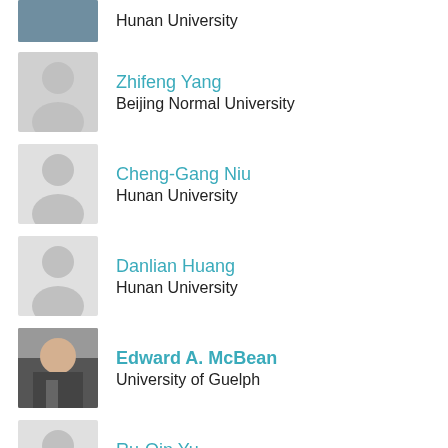[Figure (photo): Photo of person (partial, top cropped) at Hunan University]
Hunan University
[Figure (photo): Placeholder avatar silhouette for Zhifeng Yang]
Zhifeng Yang
Beijing Normal University
[Figure (photo): Placeholder avatar silhouette for Cheng-Gang Niu]
Cheng-Gang Niu
Hunan University
[Figure (photo): Placeholder avatar silhouette for Danlian Huang]
Danlian Huang
Hunan University
[Figure (photo): Photo of Edward A. McBean]
Edward A. McBean
University of Guelph
[Figure (photo): Placeholder avatar silhouette for Ru-Qin Yu]
Ru-Qin Yu
Hunan University